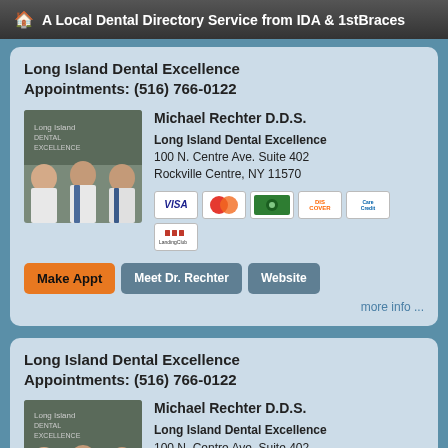A Local Dental Directory Service from IDA & 1stBraces
Long Island Dental Excellence
Appointments: (516) 766-0122
Michael Rechter D.D.S.
Long Island Dental Excellence
100 N. Centre Ave. Suite 402
Rockville Centre, NY 11570
[Figure (photo): Three male doctors in white coats standing together in front of a sign reading Long Island Dental Excellence]
Make Appt   Meet Dr. Rechter   Website
more info ...
Long Island Dental Excellence
Appointments: (516) 766-0122
Michael Rechter D.D.S.
Long Island Dental Excellence
100 N. Centre Ave. Suite 402
Rockville Centre, NY 11570
[Figure (photo): Three male doctors in white coats standing together in front of a sign reading Long Island Dental Excellence]